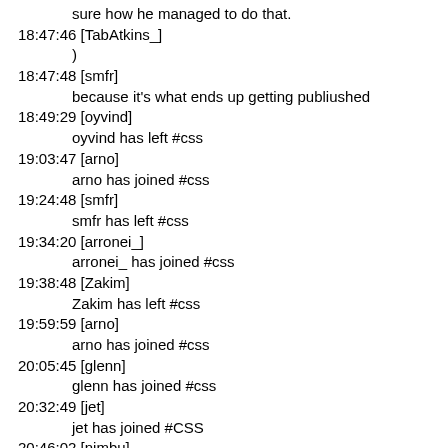sure how he managed to do that.
18:47:46 [TabAtkins_]
)
18:47:48 [smfr]
because it's what ends up getting publiushed
18:49:29 [oyvind]
oyvind has left #css
19:03:47 [arno]
arno has joined #css
19:24:48 [smfr]
smfr has left #css
19:34:20 [arronei_]
arronei_ has joined #css
19:38:48 [Zakim]
Zakim has left #css
19:59:59 [arno]
arno has joined #css
20:05:45 [glenn]
glenn has joined #css
20:32:49 [jet]
jet has joined #CSS
20:46:02 [nimbu]
nimbu has joined #css
20:49:57 [kennyluck]
kennyluck has joined #css